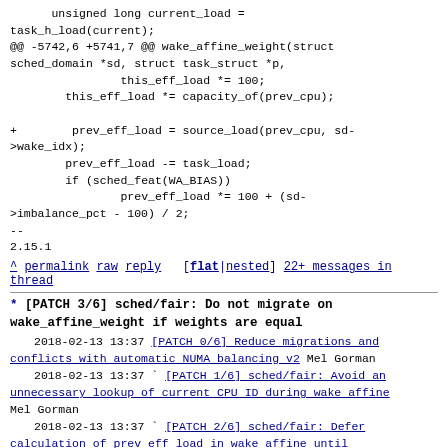unsigned long current_load =
task_h_load(current);
@@ -5742,6 +5741,7 @@ wake_affine_weight(struct sched_domain *sd, struct task_struct *p,
                this_eff_load *= 100;
        this_eff_load *= capacity_of(prev_cpu);

+        prev_eff_load = source_load(prev_cpu, sd->wake_idx);
        prev_eff_load -= task_load;
        if (sched_feat(WA_BIAS))
                prev_eff_load *= 100 + (sd->imbalance_pct - 100) / 2;
--
2.15.1
^ permalink raw reply [flat|nested] 22+ messages in thread
* [PATCH 3/6] sched/fair: Do not migrate on wake_affine_weight if weights are equal
  2018-02-13 13:37 [PATCH 0/6] Reduce migrations and conflicts with automatic NUMA balancing v2 Mel Gorman
  2018-02-13 13:37 ` [PATCH 1/6] sched/fair: Avoid an unnecessary lookup of current CPU ID during wake affine Mel Gorman
  2018-02-13 13:37 ` [PATCH 2/6] sched/fair: Defer calculation of prev eff load in wake affine until needed Mel Gorman